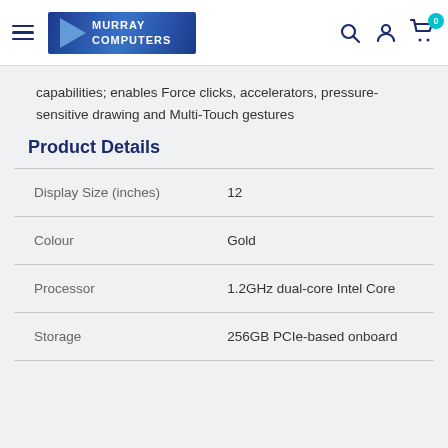Murray Computers — navigation header
capabilities; enables Force clicks, accelerators, pressure-sensitive drawing and Multi-Touch gestures
Product Details
|  |  |
| --- | --- |
| Display Size (inches) | 12 |
| Colour | Gold |
| Processor | 1.2GHz dual-core Intel Core |
| Storage | 256GB PCIe-based onboard |